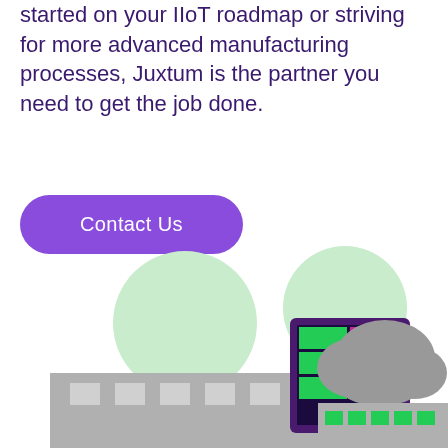started on your IIoT roadmap or striving for more advanced manufacturing processes, Juxtum is the partner you need to get the job done.
[Figure (illustration): A button labeled 'Contact Us' with a rounded purple background]
[Figure (illustration): Illustration of a factory building with green trees, a purple-framed computer monitor showing green and pink panels, and a gray cloud, representing IIoT/manufacturing technology]